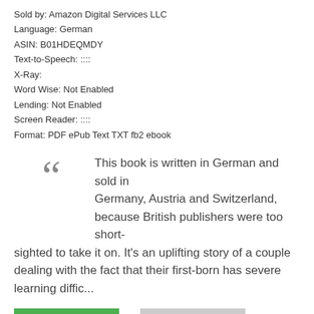Sold by: Amazon Digital Services LLC
Language: German
ASIN: B01HDEQMDY
Text-to-Speech: ::::
X-Ray:
Word Wise: Not Enabled
Lending: Not Enabled
Screen Reader: ::::
Format: PDF ePub Text TXT fb2 ebook
This book is written in German and sold in Germany, Austria and Switzerland, because British publishers were too short-sighted to take it on. It's an uplifting story of a couple dealing with the fact that their first-born has severe learning diffic...